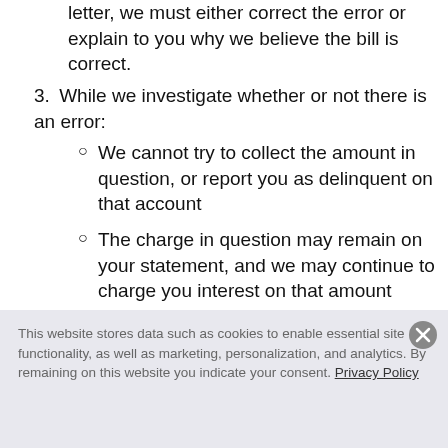letter, we must either correct the error or explain to you why we believe the bill is correct.
3. While we investigate whether or not there is an error:
We cannot try to collect the amount in question, or report you as delinquent on that account
The charge in question may remain on your statement, and we may continue to charge you interest on that amount
While you do not have to pay
This website stores data such as cookies to enable essential site functionality, as well as marketing, personalization, and analytics. By remaining on this website you indicate your consent. Privacy Policy